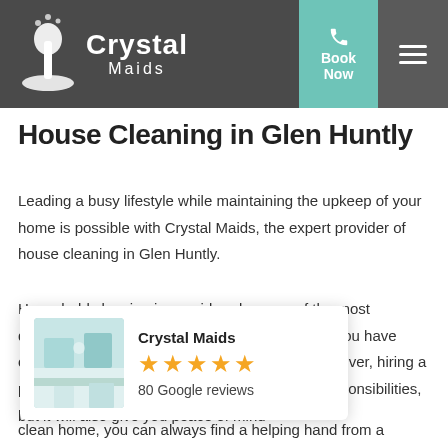[Figure (logo): Crystal Maids logo with broom icon in white on dark grey navigation bar, with teal 'Book Now' button and hamburger menu]
House Cleaning in Glen Huntly
Leading a busy lifestyle while maintaining the upkeep of your home is possible with Crystal Maids, the expert provider of house cleaning in Glen Huntly.
Household cleaning is considered as one of the most daunting and physically taxing jobs especially if you have other responsibilities other than your family. However, hiring a professional cleaner will not only lessen your responsibilities, but it will also give you peace of mind
[Figure (screenshot): Crystal Maids Google review widget showing business name, 5 gold stars, and 80 Google reviews with a thumbnail photo of a cleaned interior]
nant in need of a sparkly clean home, you can always find a helping hand from a